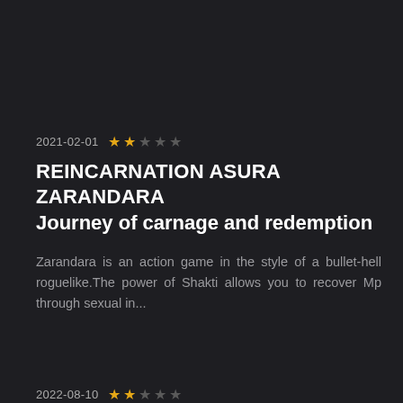2021-02-01 ★★★★★ (2 filled, 3 empty)
REINCARNATION ASURA ZARANDARA Journey of carnage and redemption
Zarandara is an action game in the style of a bullet-hell roguelike.The power of Shakti allows you to recover Mp through sexual in...
2022-08-10 ★★★★★ (2 filled, 3 empty)